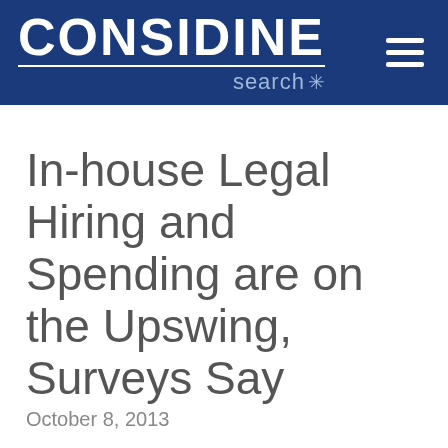[Figure (logo): Considine Search logo — white uppercase CONSIDINE text with a horizontal rule and 'search*' in light blue-grey, on a dark navy blue background, with a hamburger menu icon on the right]
In-house Legal Hiring and Spending are on the Upswing, Surveys Say
October 8, 2013